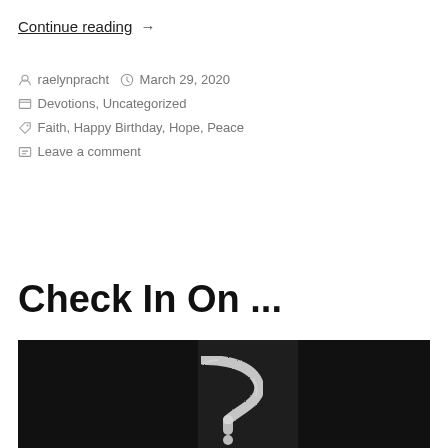Continue reading  →
raelynpracht   March 29, 2020
Devotions, Uncategorized
Faith, Happy Birthday, Hope, Peace
Leave a comment
Check In On ...
[Figure (photo): A chalk-drawn question mark on a dark chalkboard background.]